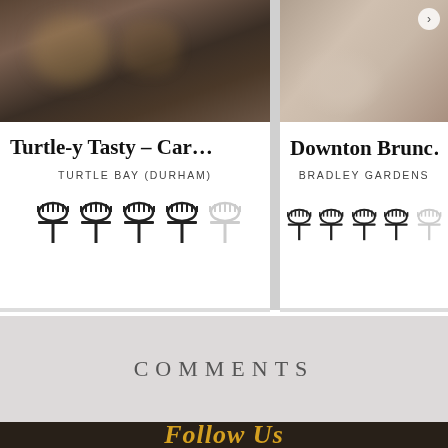Turtle-y Tasty – Car...
TURTLE BAY (DURHAM)
[Figure (illustration): Rating icons showing 4 filled fork/cloche symbols and 1 empty/grey fork/cloche symbol]
Downton Brunc...
BRADLEY GARDENS
[Figure (illustration): Rating icons showing 4 filled fork/cloche symbols and 1 empty/grey fork/cloche symbol]
COMMENTS
Follow Us